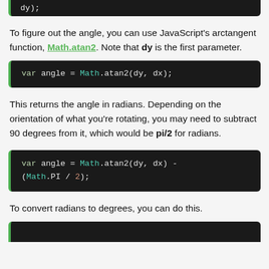[Figure (screenshot): Code snippet showing: dy);]
To figure out the angle, you can use JavaScript's arctangent function, Math.atan2. Note that dy is the first parameter.
[Figure (screenshot): Code block: var angle = Math.atan2(dy, dx);]
This returns the angle in radians. Depending on the orientation of what you're rotating, you may need to subtract 90 degrees from it, which would be pi/2 for radians.
[Figure (screenshot): Code block: var angle = Math.atan2(dy, dx) - (Math.PI / 2);]
To convert radians to degrees, you can do this.
[Figure (screenshot): Partial code block (cut off at bottom)]